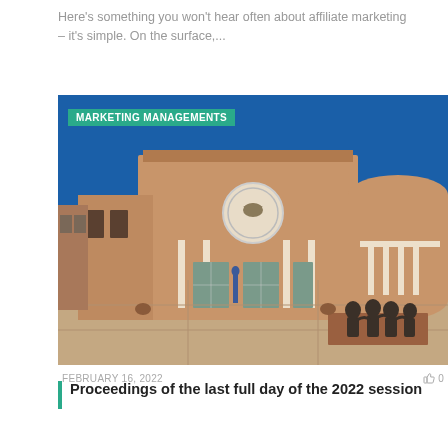Here’s something you won’t hear often about affiliate marketing – it’s simple. On the surface,...
[Figure (photo): Exterior of a Southwestern-style public building (New Mexico State Capitol) with adobe facade, white columns, a circular seal above the entrance, and a bronze sculpture group in the foreground. Blue sky above. A teal banner reads MARKETING MANAGEMENTS.]
FEBRUARY 16, 2022
0
Proceedings of the last full day of the 2022 session